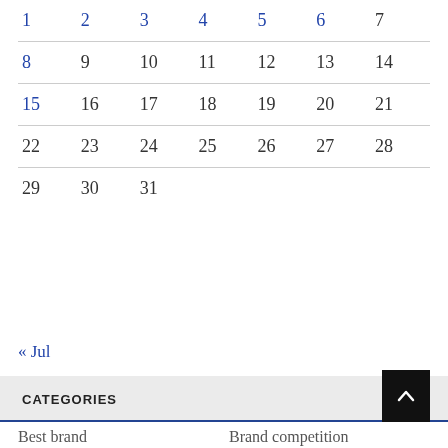| 1 | 2 | 3 | 4 | 5 | 6 | 7 |
| --- | --- | --- | --- | --- | --- | --- |
| 8 | 9 | 10 | 11 | 12 | 13 | 14 |
| 15 | 16 | 17 | 18 | 19 | 20 | 21 |
| 22 | 23 | 24 | 25 | 26 | 27 | 28 |
| 29 | 30 | 31 |  |  |  |  |
« Jul
CATEGORIES
Best brand
Brand competition